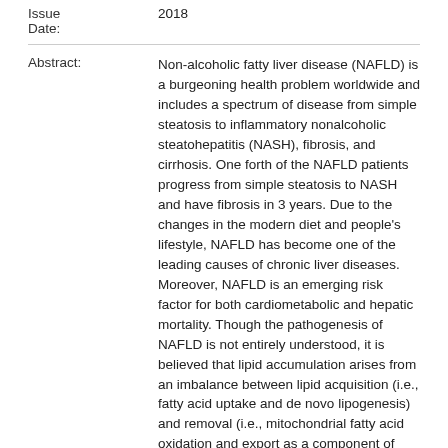Issue Date: 2018
Abstract: Non-alcoholic fatty liver disease (NAFLD) is a burgeoning health problem worldwide and includes a spectrum of disease from simple steatosis to inflammatory nonalcoholic steatohepatitis (NASH), fibrosis, and cirrhosis. One forth of the NAFLD patients progress from simple steatosis to NASH and have fibrosis in 3 years. Due to the changes in the modern diet and people's lifestyle, NAFLD has become one of the leading causes of chronic liver diseases. Moreover, NAFLD is an emerging risk factor for both cardiometabolic and hepatic mortality. Though the pathogenesis of NAFLD is not entirely understood, it is believed that lipid accumulation arises from an imbalance between lipid acquisition (i.e., fatty acid uptake and de novo lipogenesis) and removal (i.e., mitochondrial fatty acid oxidation and export as a component of very-low-density lipoprotein particles) in liver is one of the major causes. Currently, only limited treatments